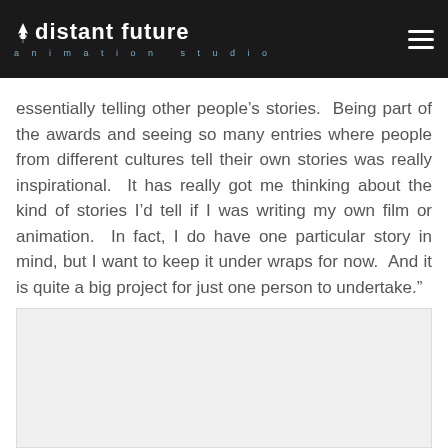distant future animation studio
essentially telling other people’s stories.  Being part of the awards and seeing so many entries where people from different cultures tell their own stories was really inspirational.  It has really got me thinking about the kind of stories I’d tell if I was writing my own film or animation.  In fact, I do have one particular story in mind, but I want to keep it under wraps for now.  And it is quite a big project for just one person to undertake.”
[Figure (other): Light gray placeholder image area below the text block]